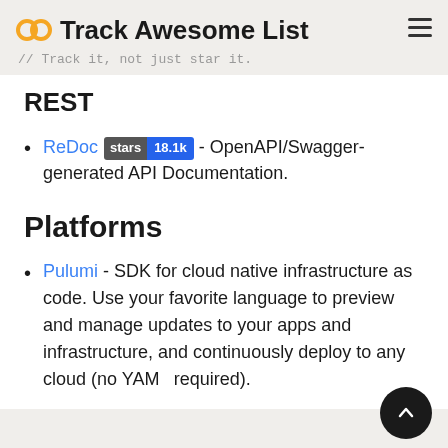Track Awesome List // Track it, not just star it.
REST
ReDoc stars 18.1k - OpenAPI/Swagger-generated API Documentation.
Platforms
Pulumi - SDK for cloud native infrastructure as code. Use your favorite language to preview and manage updates to your apps and infrastructure, and continuously deploy to any cloud (no YAML required).